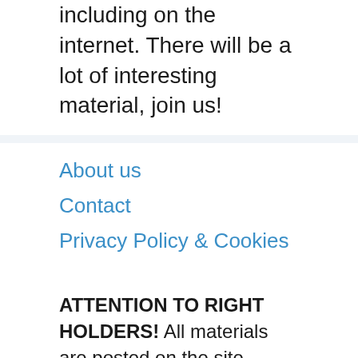including on the internet. There will be a lot of interesting material, join us!
About us
Contact
Privacy Policy & Cookies
ATTENTION TO RIGHT HOLDERS! All materials are posted on the site strictly for informational and educational purposes! If you believe that the posting of any material infringes your copyright, be sure to contact us through the contact form and your material will be removed!